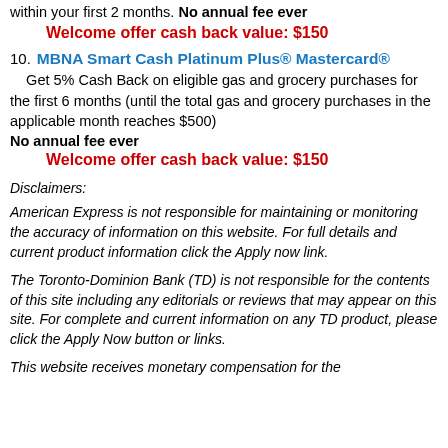within your first 2 months. No annual fee ever
Welcome offer cash back value: $150
10. MBNA Smart Cash Platinum Plus® Mastercard®
Get 5% Cash Back on eligible gas and grocery purchases for the first 6 months (until the total gas and grocery purchases in the applicable month reaches $500)
No annual fee ever
Welcome offer cash back value: $150
Disclaimers:
American Express is not responsible for maintaining or monitoring the accuracy of information on this website. For full details and current product information click the Apply now link.
The Toronto-Dominion Bank (TD) is not responsible for the contents of this site including any editorials or reviews that may appear on this site. For complete and current information on any TD product, please click the Apply Now button or links.
This website receives monetary compensation for the